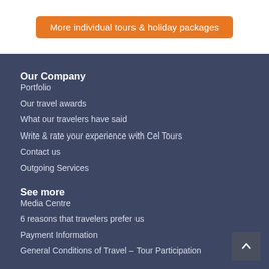More individual tours & holiday packages
Our Company
Portfolio
Our travel awards
What our travelers have said
Write & rate your experience with Cel Tours
Contact us
Outgoing Services
See more
Media Centre
6 reasons that travelers prefer us
Payment Information
General Conditions of Travel – Tour Participation